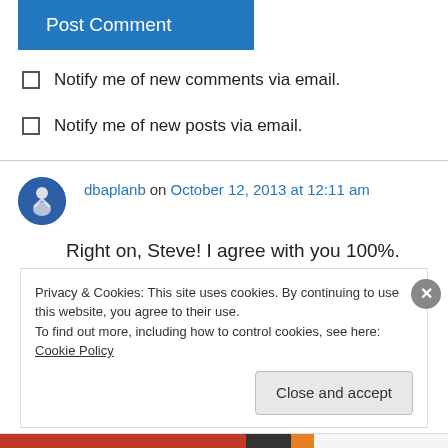Post Comment
Notify me of new comments via email.
Notify me of new posts via email.
dbaplanb on October 12, 2013 at 12:11 am
Right on, Steve! I agree with you 100%. Great analysis and post.
Privacy & Cookies: This site uses cookies. By continuing to use this website, you agree to their use. To find out more, including how to control cookies, see here: Cookie Policy
Close and accept